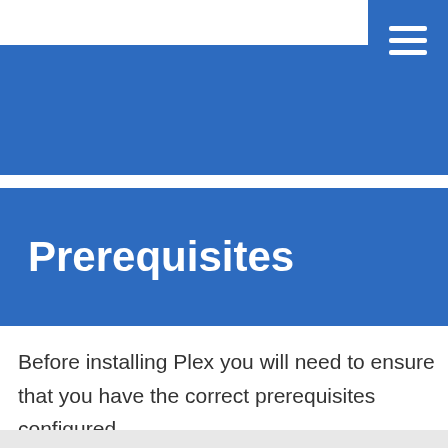[Figure (other): Hamburger menu button icon with three white horizontal lines on a blue square background]
[Figure (other): Blue header banner background]
Prerequisites
Before installing Plex you will need to ensure that you have the correct prerequisites configured.

First, run yum update to update all of your repositories to the latest versions: